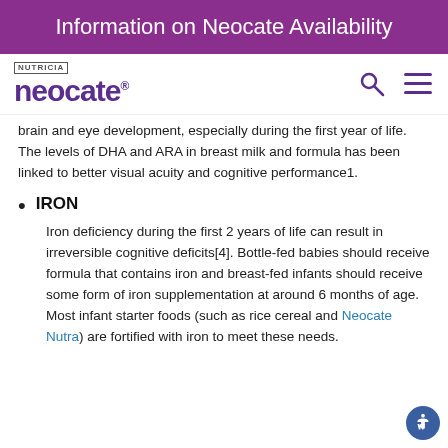Information on Neocate Availability
[Figure (logo): Nutricia Neocate logo with search and menu icons]
brain and eye development, especially during the first year of life. The levels of DHA and ARA in breast milk and formula has been linked to better visual acuity and cognitive performance1.
IRON
Iron deficiency during the first 2 years of life can result in irreversible cognitive deficits[4]. Bottle-fed babies should receive formula that contains iron and breast-fed infants should receive some form of iron supplementation at around 6 months of age. Most infant starter foods (such as rice cereal and Neocate Nutra) are fortified with iron to meet these needs.